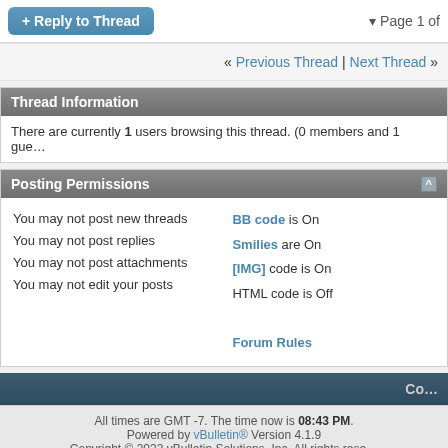+ Reply to Thread  ▾ Page 1 of
« Previous Thread | Next Thread »
Thread Information
There are currently 1 users browsing this thread. (0 members and 1 gue…
Posting Permissions
You may not post new threads
You may not post replies
You may not post attachments
You may not edit your posts
BB code is On
Smilies are On
[IMG] code is On
HTML code is Off

Forum Rules
Co…
All times are GMT -7. The time now is 08:43 PM.
Powered by vBulletin® Version 4.1.9
Copyright © 2022 vBulletin Solutions, Inc. All rights rese…